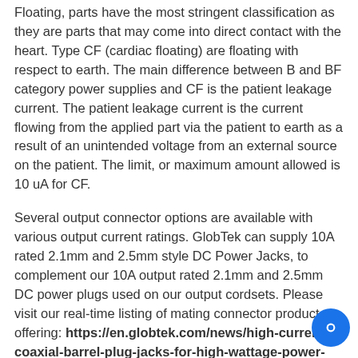Floating, parts have the most stringent classification as they are parts that may come into direct contact with the heart. Type CF (cardiac floating) are floating with respect to earth. The main difference between B and BF category power supplies and CF is the patient leakage current. The patient leakage current is the current flowing from the applied part via the patient to earth as a result of an unintended voltage from an external source on the patient. The limit, or maximum amount allowed is 10 uA for CF.
Several output connector options are available with various output current ratings. GlobTek can supply 10A rated 2.1mm and 2.5mm style DC Power Jacks, to complement our 10A output rated 2.1mm and 2.5mm DC power plugs used on our output cordsets. Please visit our real-time listing of mating connector product offering: https://en.globtek.com/news/high-current-coaxial-barrel-plug-jacks-for-high-wattage-power-supplies
Since its founding in 1984, GlobTek has been a world leader in medical rated power supplies and adapters with one of the most comprehensive product offerings for the medical industry. GlobTek offers a wide variety of options of standard off the shelf and stock modified solutions with global medical certifications. GlobTek's